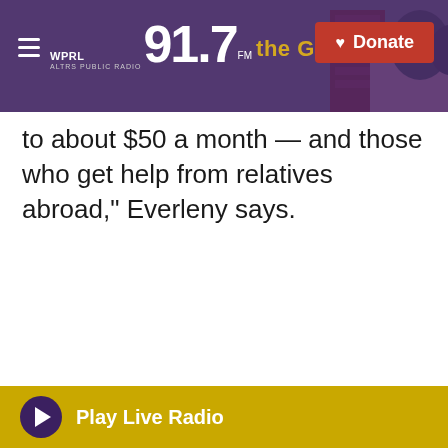[Figure (screenshot): WPRL 91.7 The Gold public radio website header with purple overlay on a house photo background, hamburger menu icon on left, station logo in center-left, and red Donate button on right]
to about $50 a month — and those who get help from relatives abroad," Everleny says.
Play Live Radio